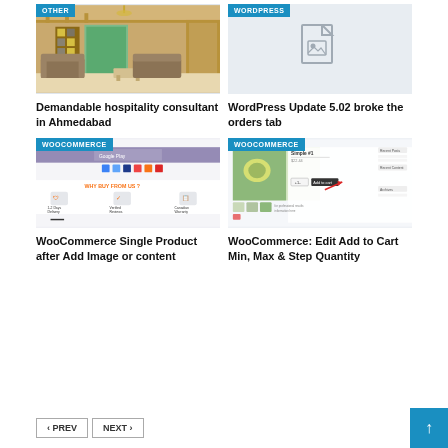[Figure (photo): Interior living room photo with badge 'OTHER']
Demandable hospitality consultant in Ahmedabad
[Figure (photo): Placeholder image with badge 'WORDPRESS']
WordPress Update 5.02 broke the orders tab
[Figure (screenshot): WooCommerce product listing screenshot with badge 'WOOCOMMERCE']
WooCommerce Single Product after Add Image or content
[Figure (screenshot): WooCommerce edit add to cart screenshot with badge 'WOOCOMMERCE']
WooCommerce: Edit Add to Cart Min, Max & Step Quantity
< PREV   NEXT >